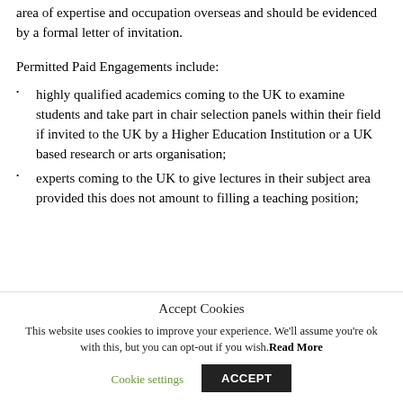area of expertise and occupation overseas and should be evidenced by a formal letter of invitation.
Permitted Paid Engagements include:
highly qualified academics coming to the UK to examine students and take part in chair selection panels within their field if invited to the UK by a Higher Education Institution or a UK based research or arts organisation;
experts coming to the UK to give lectures in their subject area provided this does not amount to filling a teaching position;
Accept Cookies
This website uses cookies to improve your experience. We'll assume you're ok with this, but you can opt-out if you wish. Read More
Cookie settings   ACCEPT